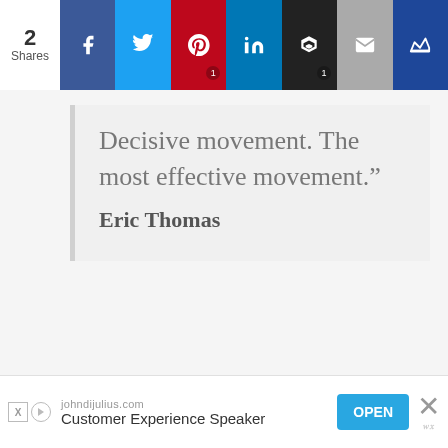2 Shares | Facebook | Twitter | Pinterest 1 | LinkedIn | Buffer 1 | Email | Crown
Decisive movement. The most effective movement."
Eric Thomas
[Figure (screenshot): Advertisement banner for johndijulius.com - Customer Experience Speaker with an OPEN button]